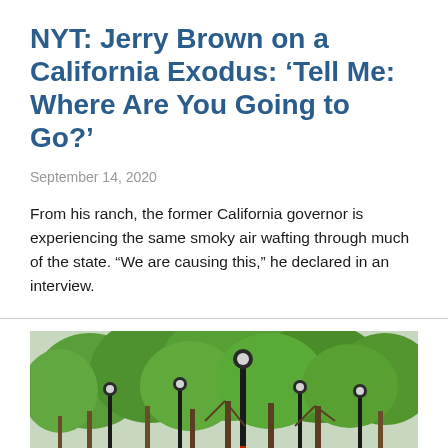NYT: Jerry Brown on a California Exodus: ‘Tell Me: Where Are You Going to Go?’
September 14, 2020
From his ranch, the former California governor is experiencing the same smoky air wafting through much of the state. “We are causing this,” he declared in an interview.
[Figure (photo): A tree-lined urban park or boulevard with green leafy trees, black lamp posts with decorative globes, and a path. Overcast sky. Green foliage fills the background.]